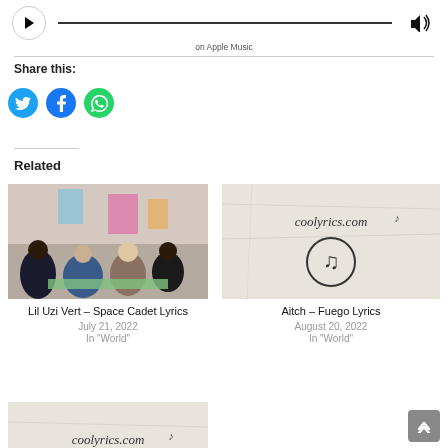[Figure (other): Apple Music player bar with play button, progress bar, and volume icon, with 'on Apple Music' text below]
Share this:
[Figure (other): Three social media icon buttons: Twitter (blue bird), Facebook (blue f), WhatsApp (green phone)]
Related
[Figure (photo): Photo of people sitting around a table in a colorful art space]
Lil Uzi Vert – Space Cadet Lyrics
July 21, 2022
In "World"
[Figure (logo): coolyrics.com logo on crumpled paper background with music note icon]
Aitch – Fuego Lyrics
August 20, 2022
In "World"
[Figure (logo): Partial coolyrics.com logo on crumpled paper — bottom of page, cropped]